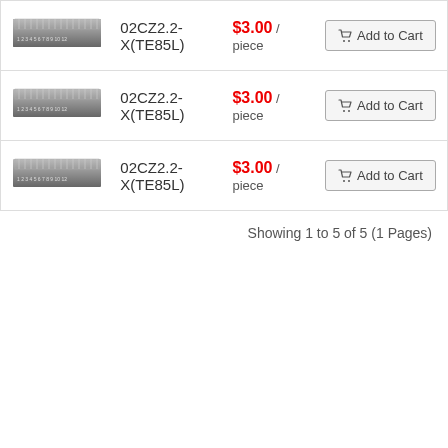| Image | Product Name | Price | Action |
| --- | --- | --- | --- |
| [ruler image] | 02CZ2.2-X(TE85L) | $3.00 / piece | Add to Cart |
| [ruler image] | 02CZ2.2-X(TE85L) | $3.00 / piece | Add to Cart |
| [ruler image] | 02CZ2.2-X(TE85L) | $3.00 / piece | Add to Cart |
Showing 1 to 5 of 5 (1 Pages)